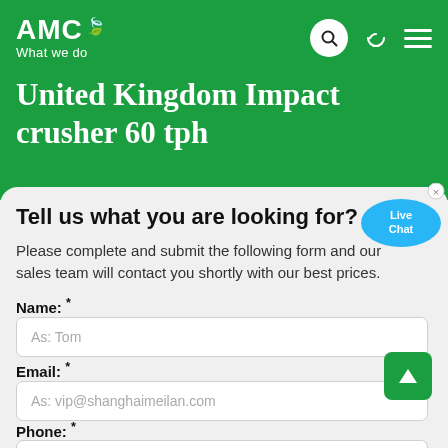AMC — What we do
United Kingdom Impact crusher 60 tph
Tell us what you are looking for?
Please complete and submit the following form and our sales team will contact you shortly with our best prices.
Name: *
As: Tom
Email: *
As: vip@shanghaimeilan.com
Phone: *
With Country Code